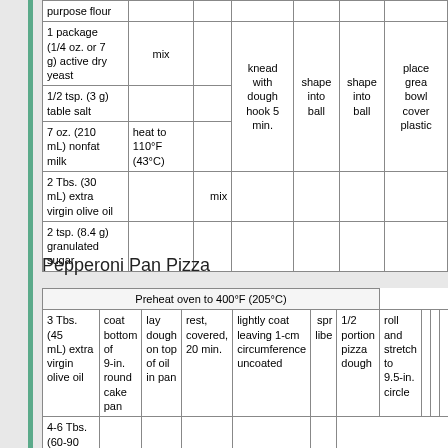| ingredient | step1 | step2 | step3 | step4 | step5 | step6 |
| --- | --- | --- | --- | --- | --- | --- |
| purpose flour |  |  |  |  |  |  |
| 1 package (1/4 oz. or 7 g) active dry yeast | mix |  |  |  |  |  |
| 1/2 tsp. (3 g) table salt |  |  | knead with dough hook 5 min. | shape into ball | shape into ball | place greased bowl cover plastic |
| 7 oz. (210 mL) nonfat milk | heat to 110°F (43°C) |  |  |  |  |  |
| 2 Tbs. (30 mL) extra virgin olive oil |  | mix |  |  |  |  |
| 2 tsp. (8.4 g) granulated sugar |  |  |  |  |  |  |
Pepperoni Pan Pizza
| ingredient | step1 | step2 | step3 | step4 | step5 | step6 |
| --- | --- | --- | --- | --- | --- | --- |
| colspan:Preheat oven to 400°F (205°C) |
| 3 Tbs. (45 mL) extra virgin olive oil | coat bottom of 9-in. round cake pan | lay dough on top of oil in pan | rest, covered, 20 min. | lightly coat leaving 1-cm circumference uncoated |  |  |
| 1/2 portion pizza dough | roll and stretch to 9.5-in. circle |  |  |  |  |  |
| 4-6 Tbs. (60-90 mL) pizza sauce |  |  |  |  |  | spr libe |
| 1 cup (110 g) grated mozarella cheese |  |  |  |  |  |  |